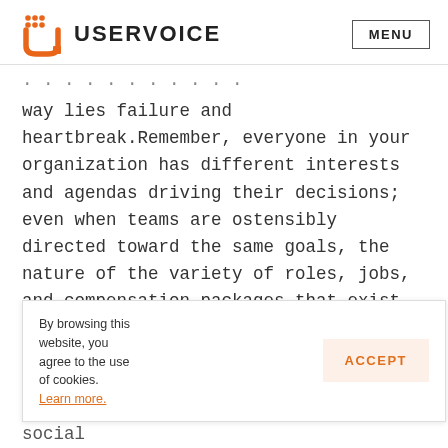USERVOICE | MENU
way lies failure and heartbreak.Remember, everyone in your organization has different interests and agendas driving their decisions; even when teams are ostensibly directed toward the same goals, the nature of the variety of roles, jobs, and compensation packages that exist drive people toward different paths and different strategies. And this doesn't even take into
By browsing this website, you agree to the use of cookies. Learn more.
ACCEPT
agendas, grudges, and all of the other social